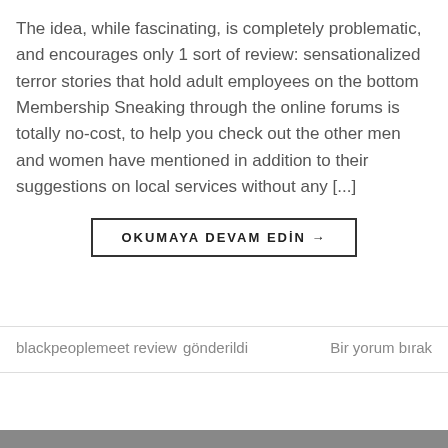The idea, while fascinating, is completely problematic, and encourages only 1 sort of review: sensationalized terror stories that hold adult employees on the bottom Membership Sneaking through the online forums is totally no-cost, to help you check out the other men and women have mentioned in addition to their suggestions on local services without any [...]
OKUMAYA DEVAM EDİN →
blackpeoplemeet review gönderildi
Bir yorum bırak